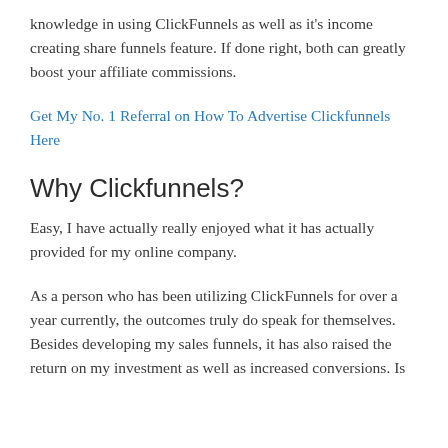knowledge in using ClickFunnels as well as it's income creating share funnels feature. If done right, both can greatly boost your affiliate commissions.
Get My No. 1 Referral on How To Advertise Clickfunnels Here
Why Clickfunnels?
Easy, I have actually really enjoyed what it has actually provided for my online company.
As a person who has been utilizing ClickFunnels for over a year currently, the outcomes truly do speak for themselves. Besides developing my sales funnels, it has also raised the return on my investment as well as increased conversions. Is